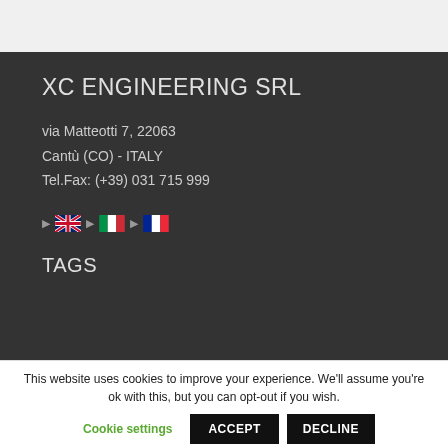XC ENGINEERING SRL
via Matteotti 7, 22063
Cantù (CO) - ITALY
Tel.Fax: (+39) 031 715 999
[Figure (other): Language selector with arrow symbols and three country flags: UK flag, Italian flag, French flag]
TAGS
This website uses cookies to improve your experience. We'll assume you're ok with this, but you can opt-out if you wish.
Cookie settings | ACCEPT | DECLINE